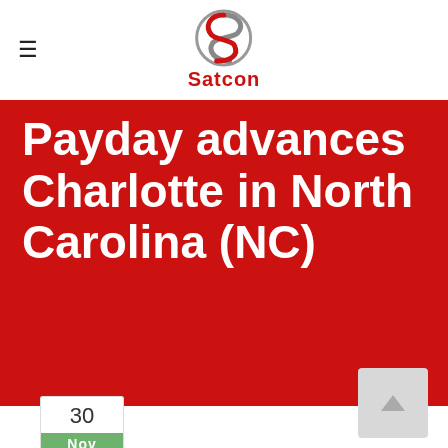[Figure (logo): Satcon company logo — stylized 'S' letter in grey and red with 'Satcon' text below in red]
Payday advances Charlotte in North Carolina (NC)
30
Nov